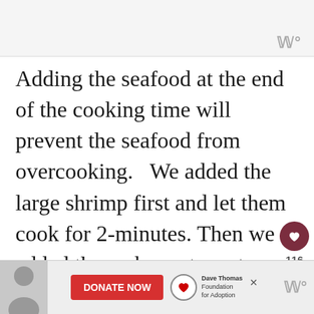Adding the seafood at the end of the cooking time will prevent the seafood from overcooking.  We added the large shrimp first and let them cook for 2-minutes. Then we added the crab meat, oysters and calamari rings and cooked them for two more minutes.  We removed the bay leaves and portioned them into bowls with the rice and garnished ea…
[Figure (screenshot): Advertisement banner at bottom with Dave Thomas Foundation for Adoption donate now button]